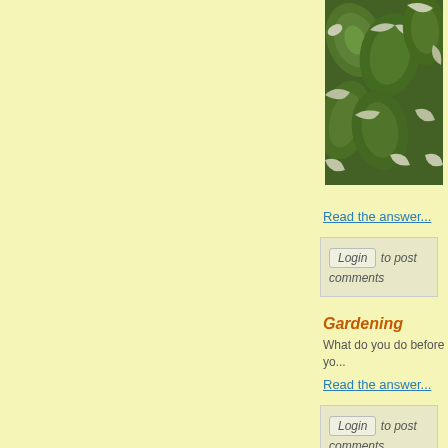[Figure (photo): Close-up photo of variegated green and white plants/shrub leaves]
Read the answer...
Login to post comments
Gardening
What do you do before yo...
Read the answer...
Login to post comments
Confederate jasmine
I have a potted confedera... spot on the leaves. What i... Can the limbs be trimmed...